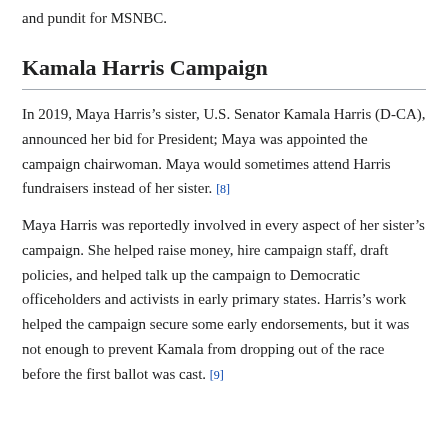and pundit for MSNBC.
Kamala Harris Campaign
In 2019, Maya Harris’s sister, U.S. Senator Kamala Harris (D-CA), announced her bid for President; Maya was appointed the campaign chairwoman. Maya would sometimes attend Harris fundraisers instead of her sister. [8]
Maya Harris was reportedly involved in every aspect of her sister’s campaign. She helped raise money, hire campaign staff, draft policies, and helped talk up the campaign to Democratic officeholders and activists in early primary states. Harris’s work helped the campaign secure some early endorsements, but it was not enough to prevent Kamala from dropping out of the race before the first ballot was cast. [9]